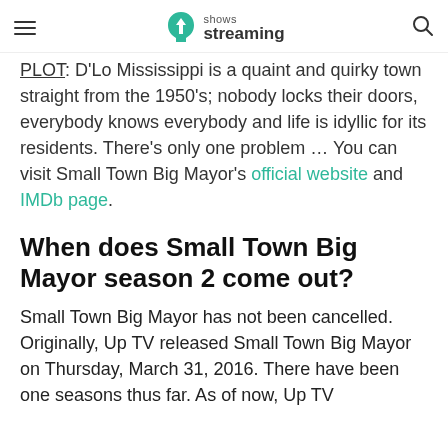shows streaming
PLOT: D'Lo Mississippi is a quaint and quirky town straight from the 1950's; nobody locks their doors, everybody knows everybody and life is idyllic for its residents. There's only one problem … You can visit Small Town Big Mayor's official website and IMDb page.
When does Small Town Big Mayor season 2 come out?
Small Town Big Mayor has not been cancelled. Originally, Up TV released Small Town Big Mayor on Thursday, March 31, 2016. There have been one seasons thus far. As of now, Up TV